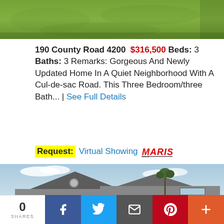[Figure (photo): Top portion of a grassy lawn/yard outside a home]
190 County Road 4200  $316,500 Beds: 3 Baths: 3 Remarks: Gorgeous And Newly Updated Home In A Quiet Neighborhood With A Cul-de-sac Road. This Three Bedroom/three Bath... | See Full Details
Request: Virtual Showing MARIS
[Figure (photo): Exterior photo of a single-story ranch-style house with gray siding, peaked rooflines, and blue sky with clouds]
0 SHARES
Facebook share button
Twitter share button
Email share button
Pinterest share button
More share button